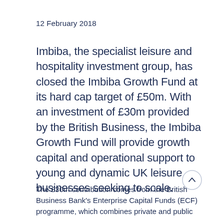12 February 2018
Imbiba, the specialist leisure and hospitality investment group, has closed the Imbiba Growth Fund at its hard cap target of £50m. With an investment of £30m provided by the British Business, the Imbiba Growth Fund will provide growth capital and operational support to young and dynamic UK leisure businesses seeking to scale.
The £30m contribution comes from the British Business Bank's Enterprise Capital Funds (ECF) programme, which combines private and public